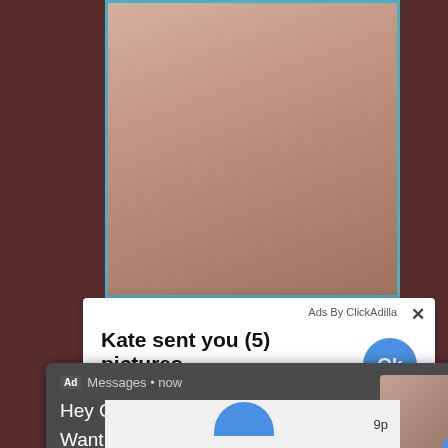[Figure (screenshot): A screenshot of a webpage showing adult content with overlay advertisement popups. Top portion shows an image. Over it are two ad popups: one white popup reading 'Kate sent you (5) pictures / Click OK to display the photo' with an Ok button and 'Ads By ClickAdilla' label, and one dark popup reading 'Messages • now / Hey Cutie ;) / Want to see my Photos?' with a thumbnail image. Bottom strip shows partial page content.]
Ads By ClickAdilla
Kate sent you (5) pictures
Click OK to display the photo
Ok
Ad  Messages • now
Hey Cutie ;)
Want to see my Photos?
9p